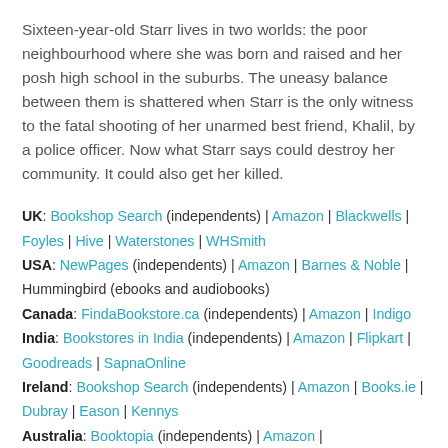Sixteen-year-old Starr lives in two worlds: the poor neighbourhood where she was born and raised and her posh high school in the suburbs. The uneasy balance between them is shattered when Starr is the only witness to the fatal shooting of her unarmed best friend, Khalil, by a police officer. Now what Starr says could destroy her community. It could also get her killed.
UK: Bookshop Search (independents) | Amazon | Blackwells | Foyles | Hive | Waterstones | WHSmith USA: NewPages (independents) | Amazon | Barnes & Noble | Hummingbird (ebooks and audiobooks) Canada: FindaBookstore.ca (independents) | Amazon | Indigo India: Bookstores in India (independents) | Amazon | Flipkart | Goodreads | SapnaOnline Ireland: Bookshop Search (independents) | Amazon | Books.ie | Dubray | Eason | Kennys Australia: Booktopia (independents) | Amazon